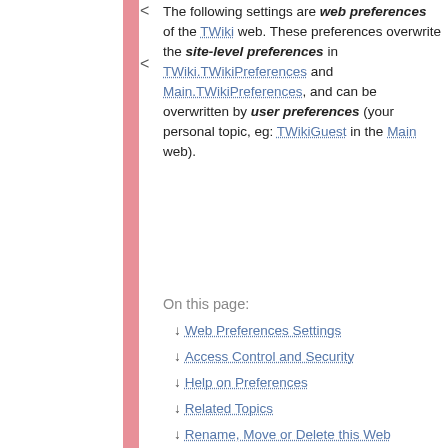The following settings are web preferences of the TWiki web. These preferences overwrite the site-level preferences in TWiki.TWikiPreferences and Main.TWikiPreferences, and can be overwritten by user preferences (your personal topic, eg: TWikiGuest in the Main web).
On this page:
↓ Web Preferences Settings
↓ Access Control and Security
↓ Help on Preferences
↓ Related Topics
↓ Rename, Move or Delete this Web
The
Page contents
↓ Web Preferences Settings
↓ Access Control and Security
↓ Help on Preferences
↓ Related Topics
↓ Rename, Move or Delete this Web